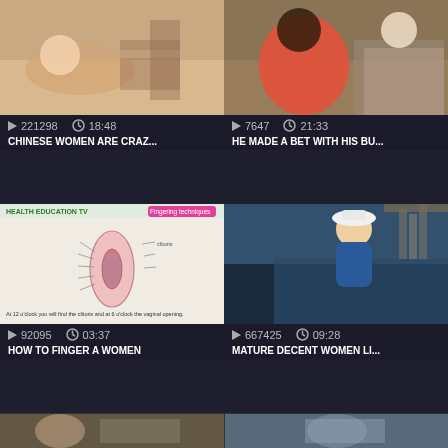[Figure (screenshot): Video thumbnail - person lying on table]
221298  18:48
CHINESE WOMEN ARE CRAZ...
[Figure (screenshot): Video thumbnail - woman in red dress with man on sofa]
7647  21:33
HE MADE A BET WITH HIS BU...
[Figure (screenshot): Health education diagram with text: At 12 o'clock you will find the clitoris and at 6 o'clock the vaginal opening.]
92095  03:37
HOW TO FINGER A WOMEN
[Figure (screenshot): Video thumbnail - woman in blue swimsuit at pool]
667425  09:28
MATURE DECENT WOMEN LI...